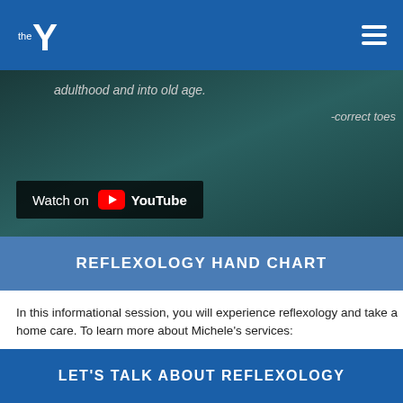YMCA navigation bar with logo and hamburger menu
[Figure (screenshot): YouTube video thumbnail showing dark teal background with text 'adulthood and into old age.' and '-correct toes' attribution, with Watch on YouTube button overlay]
REFLEXOLOGY HAND CHART
In this informational session, you will experience reflexology and take a home care. To learn more about Michele's services:
Michele Nagy, NBCR, LMT
Serenefootfalls.com
360-303-7681
LET'S TALK ABOUT REFLEXOLOGY